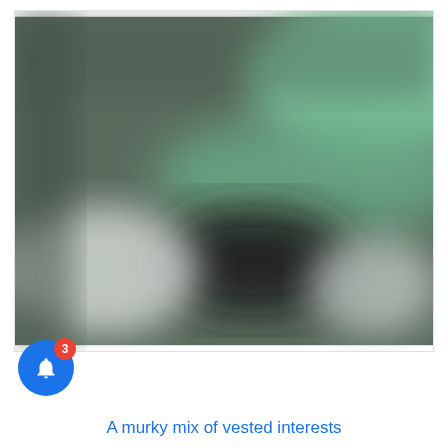[Figure (photo): A blurry close-up photograph showing abstract shapes with muted green, dark grey/black, and white/light grey tones. The image appears to show blurred organic or rounded shapes against a muted green background.]
A murky mix of vested interests